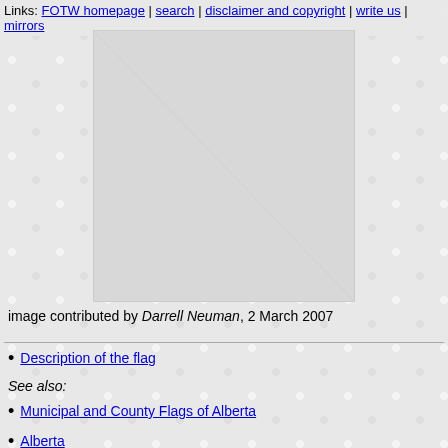Links: FOTW homepage | search | disclaimer and copyright | write us | mirrors
[Figure (other): Flag image area with decorative tiled background, partially visible flag image]
image contributed by Darrell Neuman, 2 March 2007
Description of the flag
See also:
Municipal and County Flags of Alberta
Alberta